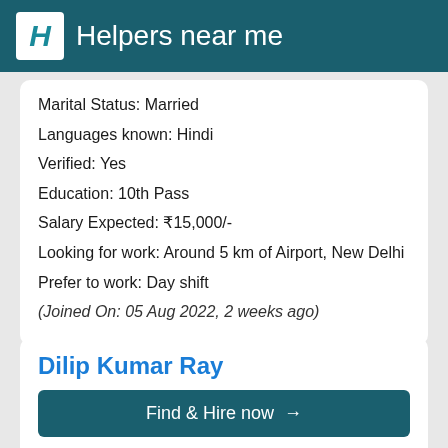Helpers near me
Marital Status: Married
Languages known: Hindi
Verified: Yes
Education: 10th Pass
Salary Expected: ₹15,000/-
Looking for work: Around 5 km of Airport, New Delhi
Prefer to work: Day shift
(Joined On: 05 Aug 2022, 2 weeks ago)
Dilip Kumar Ray
Find & Hire now →
Experience: 30 yrs